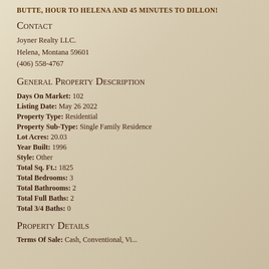BUTTE, HOUR TO HELENA AND 45 MINUTES TO DILLON!
Contact
Joyner Realty LLC.
Helena, Montana 59601
(406) 558-4767
General Property Description
Days On Market: 102
Listing Date: May 26 2022
Property Type: Residential
Property Sub-Type: Single Family Residence
Lot Acres: 20.03
Year Built: 1996
Style: Other
Total Sq. Ft.: 1825
Total Bedrooms: 3
Total Bathrooms: 2
Total Full Baths: 2
Total 3/4 Baths: 0
Property Details
Terms Of Sale: Cash, Conventional, VA...